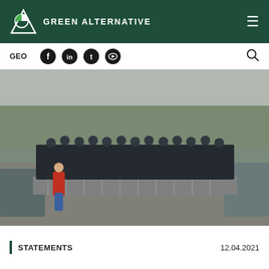GREEN ALTERNATIVE
[Figure (photo): A crowd of police officers in dark uniforms and masks standing behind metal barriers on a road, with a woman in a red jacket visible on the left side, trees and overcast sky in the background.]
STATEMENTS
12.04.2021